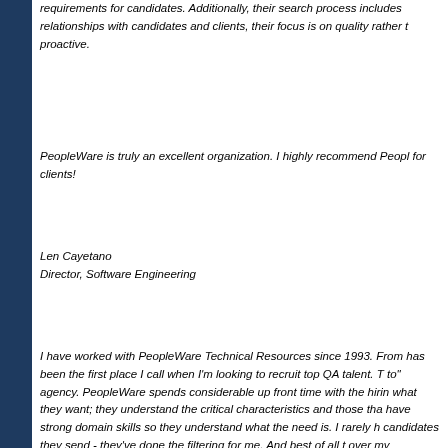requirements for candidates.  Additionally, their search process includes relationships with candidates and clients, their focus is on quality rather than quantity, and they are proactive.
PeopleWare is truly an excellent organization. I highly recommend PeopleWare for clients!
Len Cayetano
Director, Software Engineering
I have worked with PeopleWare Technical Resources since 1993.  From has been the first place I call when I'm looking to recruit top QA talent.  T to" agency.  PeopleWare spends considerable up front time with the hiri what they want; they understand the critical characteristics and those tha have strong domain skills so they understand what the need is.  I rarely h candidates they send - they've done the filtering for me.  And best of all t over my decisions.  I expect to continue to use PeopleWare whenever I r